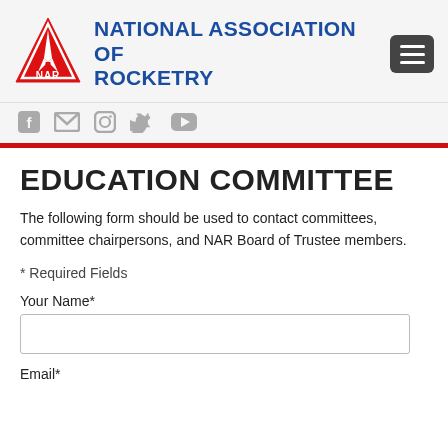[Figure (logo): NAR red triangle logo with rocket and NAR text]
NATIONAL ASSOCIATION OF ROCKETRY
[Figure (other): Hamburger menu icon (three horizontal lines on dark background)]
[Figure (other): Social media icons: Facebook, email, Instagram, Twitter, YouTube]
EDUCATION COMMITTEE
The following form should be used to contact committees, committee chairpersons, and NAR Board of Trustee members.
* Required Fields
Your Name*
Email*